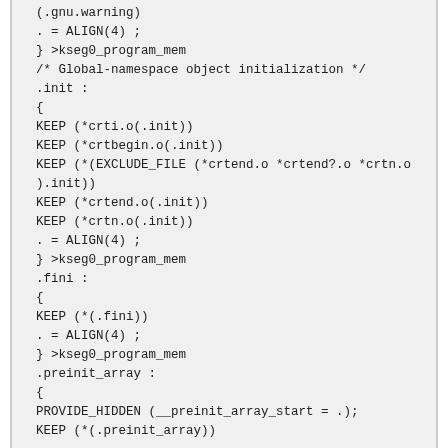(.gnu.warning)
. = ALIGN(4) ;
} >kseg0_program_mem
/* Global-namespace object initialization */
.init :
{
KEEP (*crti.o(.init))
KEEP (*crtbegin.o(.init))
KEEP (*(EXCLUDE_FILE (*crtend.o *crtend?.o *crtn.o
).init))
KEEP (*crtend.o(.init))
KEEP (*crtn.o(.init))
. = ALIGN(4) ;
} >kseg0_program_mem
.fini :
{
KEEP (*(.fini))
. = ALIGN(4) ;
} >kseg0_program_mem
.preinit_array :
{
PROVIDE_HIDDEN (__preinit_array_start = .);
KEEP (*(.preinit_array))